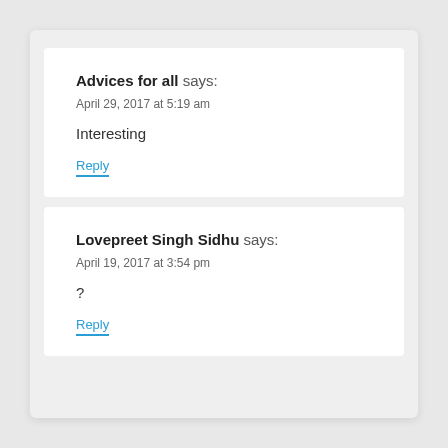Advices for all says:
April 29, 2017 at 5:19 am
Interesting
Reply
Lovepreet Singh Sidhu says:
April 19, 2017 at 3:54 pm
?
Reply